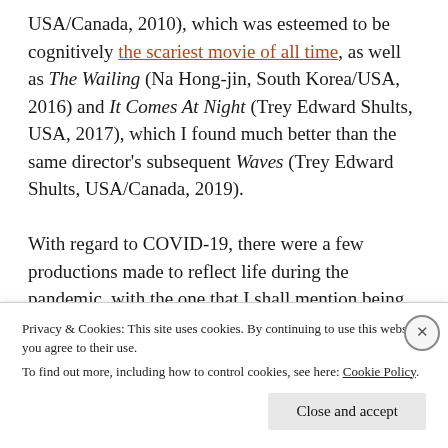USA/Canada, 2010), which was esteemed to be cognitively the scariest movie of all time, as well as The Wailing (Na Hong-jin, South Korea/USA, 2016) and It Comes At Night (Trey Edward Shults, USA, 2017), which I found much better than the same director's subsequent Waves (Trey Edward Shults, USA/Canada, 2019).

With regard to COVID-19, there were a few productions made to reflect life during the pandemic, with the one that I shall mention being Cinema-19 (Courtney Stephens, Kalpana Subramanian, Usama …
Privacy & Cookies: This site uses cookies. By continuing to use this website, you agree to their use.
To find out more, including how to control cookies, see here: Cookie Policy